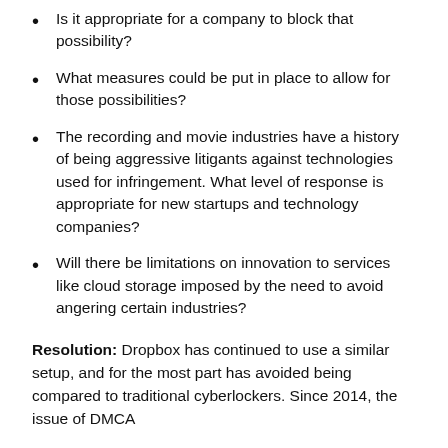Is it appropriate for a company to block that possibility?
What measures could be put in place to allow for those possibilities?
The recording and movie industries have a history of being aggressive litigants against technologies used for infringement. What level of response is appropriate for new startups and technology companies?
Will there be limitations on innovation to services like cloud storage imposed by the need to avoid angering certain industries?
Resolution: Dropbox has continued to use a similar setup, and for the most part has avoided being compared to traditional cyberlockers. Since 2014, the issue of DMCA